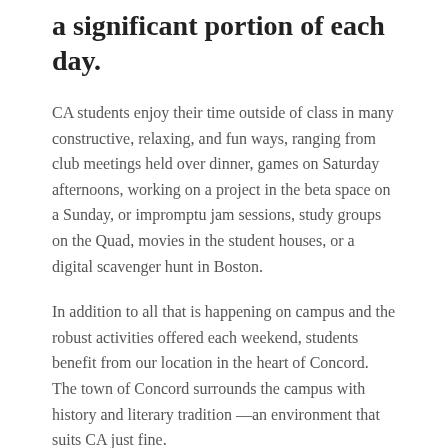a significant portion of each day.
CA students enjoy their time outside of class in many constructive, relaxing, and fun ways, ranging from club meetings held over dinner, games on Saturday afternoons, working on a project in the beta space on a Sunday, or impromptu jam sessions, study groups on the Quad, movies in the student houses, or a digital scavenger hunt in Boston.
In addition to all that is happening on campus and the robust activities offered each weekend, students benefit from our location in the heart of Concord.  The town of Concord surrounds the campus with history and literary tradition —an environment that suits CA just fine.